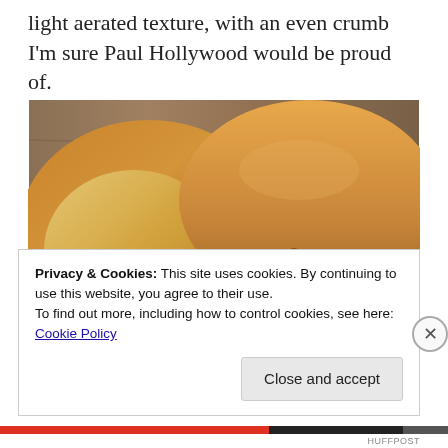light aerated texture, with an even crumb I'm sure Paul Hollywood would be proud of.
[Figure (photo): Close-up photo of sliced golden-brown bread rolls with visible raisins and a light, aerated crumb interior, placed on a wooden surface.]
Privacy & Cookies: This site uses cookies. By continuing to use this website, you agree to their use.
To find out more, including how to control cookies, see here: Cookie Policy
Close and accept